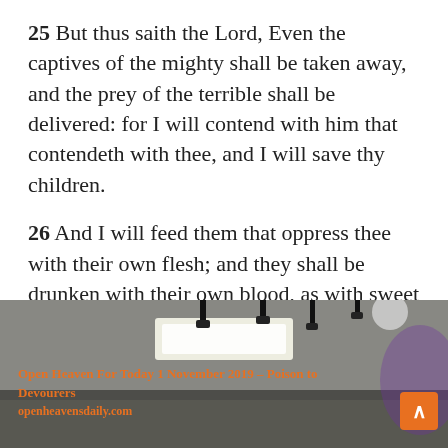25 But thus saith the Lord, Even the captives of the mighty shall be taken away, and the prey of the terrible shall be delivered: for I will contend with him that contendeth with thee, and I will save thy children.
26 And I will feed them that oppress thee with their own flesh; and they shall be drunken with their own blood, as with sweet wine: and all flesh shall know that I the Lord am thy Saviour and thy Redeemer, the mighty One of Jacob.
[Figure (photo): Interior photo of a church or event space with ceiling lights, pendant lamps, and a lit rectangular ceiling panel. Orange text overlay reads 'Open Heaven For Today 1 November 2019 – Poison to Devourers' and 'openheavensdaily.com'. An orange scroll-to-top button appears at bottom right.]